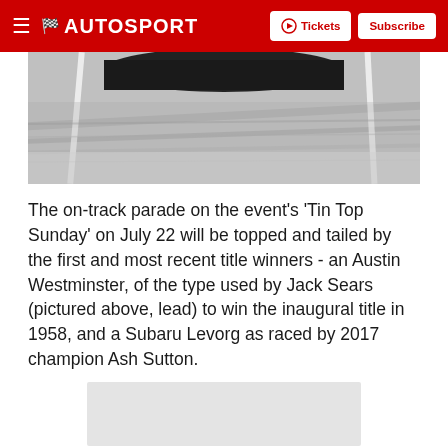AUTOSPORT | Tickets | Subscribe
[Figure (photo): Black and white photo of a racing car on track, viewed from above/behind, with track surface and white lines visible]
The on-track parade on the event's 'Tin Top Sunday' on July 22 will be topped and tailed by the first and most recent title winners - an Austin Westminster, of the type used by Jack Sears (pictured above, lead) to win the inaugural title in 1958, and a Subaru Levorg as raced by 2017 champion Ash Sutton.
[Figure (other): Advertisement placeholder (light grey box)]